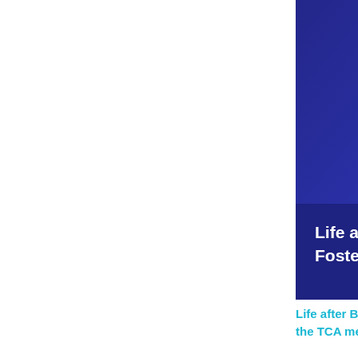[Figure (other): Partially visible dark blue/purple event banner for a Forum event. Shows logo text 'FORU' (cropped), and text 'Life after Brexit: Sir Ivan Rogers in con... Foster on what the TCA means fo...' with date 'Monday 4 April | Online']
Life after Brexit: Sir Ivan Rogers in conversation... the TCA means for future EU-UK relations  4 Apr
[Figure (other): Partially visible LEVA EU event banner for 24 MARCH 2022. Shows LEVA EU logo (circle with text), date '24 MARCH 2022', headline 'THE FUTURE IS ELECTRIC & LIGHT!' with green and cyan typography on light grey/white background with green arrow decorations.]